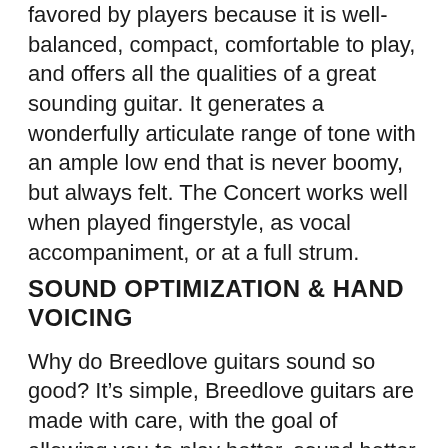favored by players because it is well-balanced, compact, comfortable to play, and offers all the qualities of a great sounding guitar. It generates a wonderfully articulate range of tone with an ample low end that is never boomy, but always felt. The Concert works well when played fingerstyle, as vocal accompaniment, or at a full strum.
SOUND OPTIMIZATION & HAND VOICING
Why do Breedlove guitars sound so good? It’s simple, Breedlove guitars are made with care, with the goal of allowing you to play better, sound better and play more. But it’s also complex, with art, inspiration, craft and science merging together in a process we call Sound Optimization. These models are hand voiced, with experienced luthiers meticulously tapping, listening and shaving away tiny curls of exquisite tonewood as they target specific, measurable frequencies that will make each